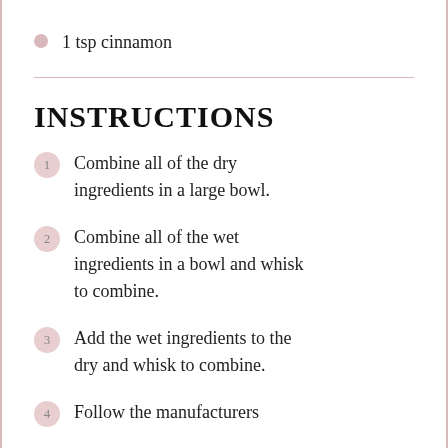1 tsp cinnamon
INSTRUCTIONS
1 Combine all of the dry ingredients in a large bowl.
2 Combine all of the wet ingredients in a bowl and whisk to combine.
3 Add the wet ingredients to the dry and whisk to combine.
4 Follow the manufacturers